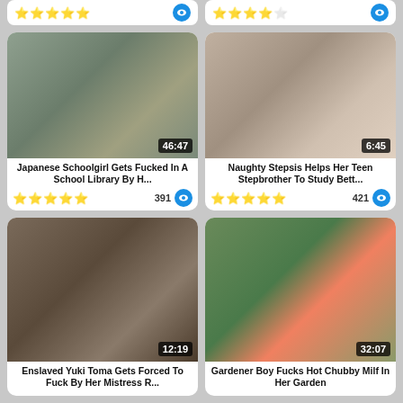[Figure (screenshot): Top bar with star ratings and eye icon buttons for two video cards]
[Figure (photo): Thumbnail: Japanese Schoolgirl Gets Fucked In A School Library By H... Duration 46:47, 391 views, 5 stars]
[Figure (photo): Thumbnail: Naughty Stepsis Helps Her Teen Stepbrother To Study Bett... Duration 6:45, 421 views, 5 stars]
[Figure (photo): Thumbnail: Enslaved Yuki Toma Gets Forced To Fuck By Her Mistress R... Duration 12:19]
[Figure (photo): Thumbnail: Gardener Boy Fucks Hot Chubby Milf In Her Garden Duration 32:07]